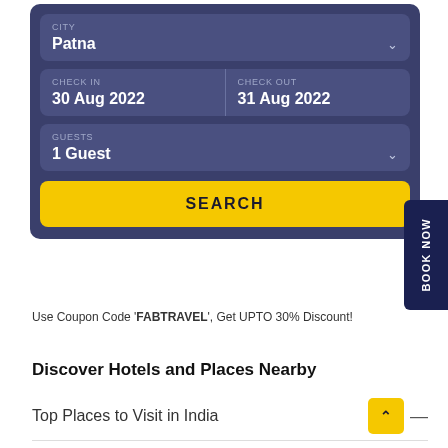[Figure (screenshot): Hotel booking search widget with city, check-in, check-out, guests fields and search button on dark blue background]
Use Coupon Code 'FABTRAVEL', Get UPTO 30% Discount!
Discover Hotels and Places Nearby
Top Places to Visit in India